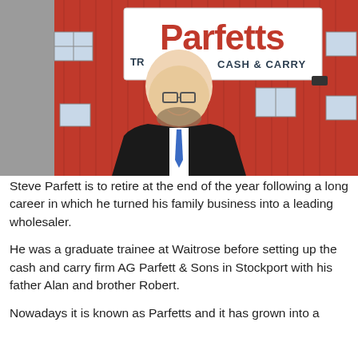[Figure (photo): A smiling bald man with glasses and a beard wearing a dark suit and blue tie, standing in front of a red building with a large white sign reading 'Parfetts TR... CASH & CARRY']
Steve Parfett is to retire at the end of the year following a long career in which he turned his family business into a leading wholesaler.
He was a graduate trainee at Waitrose before setting up the cash and carry firm AG Parfett & Sons in Stockport with his father Alan and brother Robert.
Nowadays it is known as Parfetts and it has grown into a